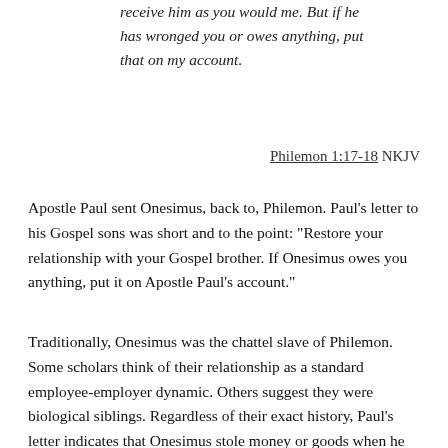receive him as you would me. But if he has wronged you or owes anything, put that on my account.
Philemon 1:17-18 NKJV
Apostle Paul sent Onesimus, back to, Philemon. Paul’s letter to his Gospel sons was short and to the point: “Restore your relationship with your Gospel brother. If Onesimus owes you anything, put it on Apostle Paul’s account.”
Traditionally, Onesimus was the chattel slave of Philemon. Some scholars think of their relationship as a standard employee-employer dynamic. Others suggest they were biological siblings. Regardless of their exact history, Paul’s letter indicates that Onesimus stole money or goods when he left Philemon.